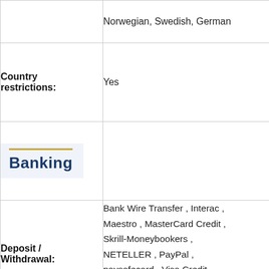|  | Norwegian, Swedish, German |
| Country restrictions: | Yes |
| Banking |  |
| Deposit / Withdrawal: | Bank Wire Transfer , Interac , Maestro , MasterCard Credit , Skrill-Moneybookers , NETELLER , PayPal , paysafecard , Visa Credit , SOFORT Banking , Trustly , Kl... |